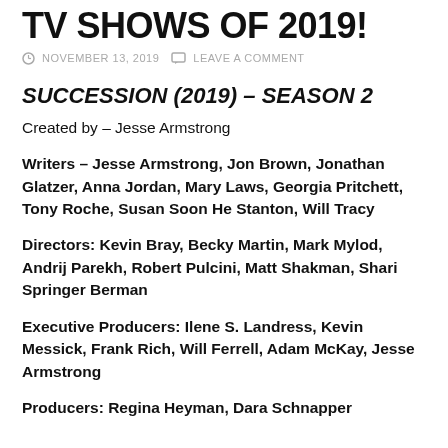TV SHOWS OF 2019!
NOVEMBER 13, 2019  LEAVE A COMMENT
SUCCESSION (2019) – SEASON 2
Created by – Jesse Armstrong
Writers – Jesse Armstrong, Jon Brown, Jonathan Glatzer, Anna Jordan, Mary Laws, Georgia Pritchett, Tony Roche, Susan Soon He Stanton, Will Tracy
Directors: Kevin Bray, Becky Martin, Mark Mylod, Andrij Parekh, Robert Pulcini, Matt Shakman, Shari Springer Berman
Executive Producers: Ilene S. Landress, Kevin Messick, Frank Rich, Will Ferrell, Adam McKay, Jesse Armstrong
Producers: Regina Heyman, Dara Schnapper